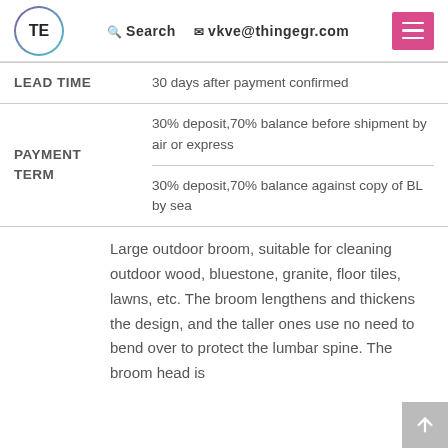TE  Search  vkve@thingegr.com
| LEAD TIME | 30 days after payment confirmed |
| PAYMENT TERM | 30% deposit,70% balance before shipment by air or express
30% deposit,70% balance against copy of BL by sea |
Large outdoor broom, suitable for cleaning outdoor wood, bluestone, granite, floor tiles, lawns, etc. The broom lengthens and thickens the design, and the taller ones use no need to bend over to protect the lumbar spine. The broom head is